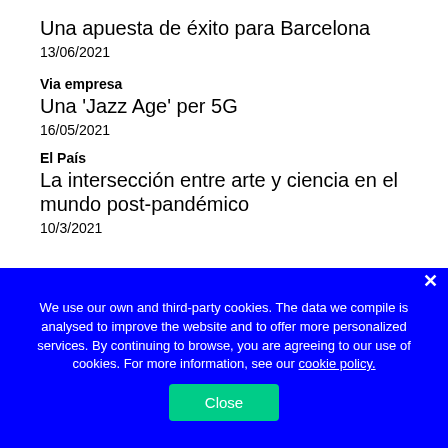Una apuesta de éxito para Barcelona
13/06/2021
Via empresa
Una 'Jazz Age' per 5G
16/05/2021
El País
La intersección entre arte y ciencia en el mundo post-pandémico
10/3/2021
We use our own and third-party cookies. The data we compile is analysed to improve the website and to offer more personalized services. By continuing to browse, you are agreeing to our use of cookies. For more information, see our cookie policy.
Close